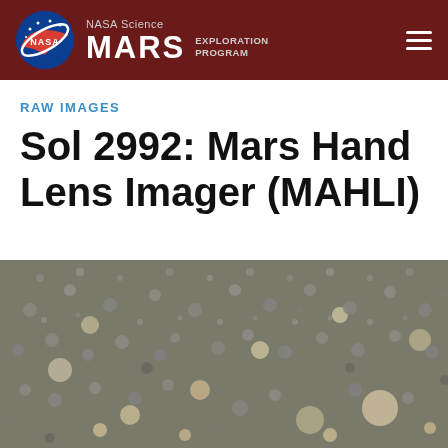NASA Science MARS EXPLORATION PROGRAM
RAW IMAGES
Sol 2992: Mars Hand Lens Imager (MAHLI)
[Figure (photo): Close-up macro photograph of Martian surface showing numerous small rounded pebbles and granules of varying sizes in grey and tan/beige colors, taken by the Mars Hand Lens Imager (MAHLI) on Sol 2992.]